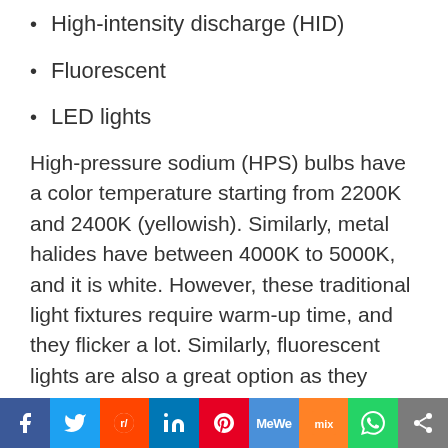High-intensity discharge (HID)
Fluorescent
LED lights
High-pressure sodium (HPS) bulbs have a color temperature starting from 2200K and 2400K (yellowish). Similarly, metal halides have between 4000K to 5000K, and it is white. However, these traditional light fixtures require warm-up time, and they flicker a lot. Similarly, fluorescent lights are also a great option as they generate color temperatures from 2700K to 6500K.
Social sharing bar: Facebook, Twitter, Reddit, LinkedIn, Pinterest, MeWe, Mix, WhatsApp, Share